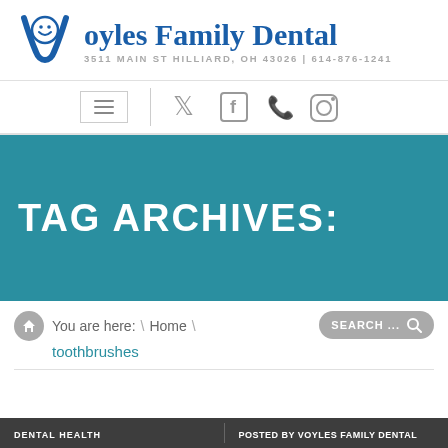[Figure (logo): Voyles Family Dental logo with tooth icon and dental practice name]
Voyles Family Dental
3511 MAIN ST HILLIARD, OH 43026 | 614-876-1241
[Figure (screenshot): Navigation bar with hamburger menu, Twitter, Facebook, phone, and Instagram icons]
TAG ARCHIVES:
You are here: \ Home \ toothbrushes
SEARCH ...
| DENTAL HEALTH | POSTED BY VOYLES FAMILY DENTAL |
| --- | --- |